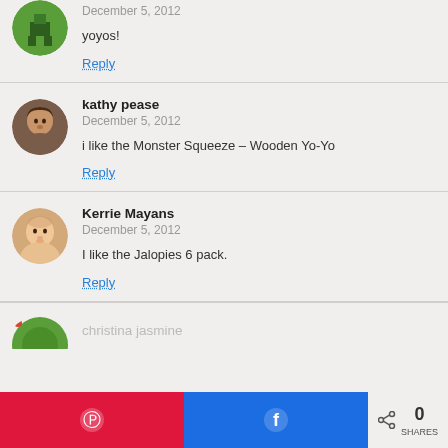[Figure (other): Minecraft-style avatar (green, partial, cropped at top)]
December 5, 2012
yoyos!
Reply
[Figure (photo): Circular avatar photo of kathy pease, woman with brown hair]
kathy pease
December 5, 2012
i like the Monster Squeeze – Wooden Yo-Yo
Reply
[Figure (photo): Circular avatar photo of Kerrie Mayans, baby face]
Kerrie Mayans
December 5, 2012
I like the Jalopies 6 pack.
Reply
[Figure (photo): Partial circular avatar, bottom of page, christina jasmine partially visible]
christina jasmine
[Figure (other): Bottom social sharing bar: Pinterest button (red), Facebook button (blue), share count showing 0 SHARES]